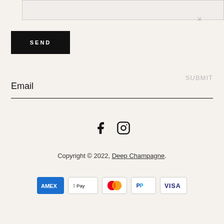[Figure (screenshot): Textarea input field (top portion visible, partially cropped)]
[Figure (other): Black SEND button with white uppercase text]
Email
SUBMIT
[Figure (other): Facebook and Instagram social media icons]
Copyright © 2022, Deep Champagne.
[Figure (other): Payment method icons: American Express, Apple Pay, Mastercard, PayPal, Visa]